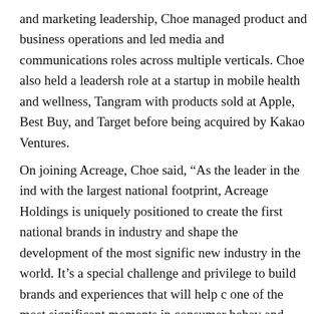and marketing leadership, Choe managed product and business operations and led media and communications roles across multiple verticals. Choe also held a leadership role at a startup in mobile health and wellness, Tangram with products sold at Apple, Best Buy, and Target before being acquired by Kakao Ventures.
On joining Acreage, Choe said, “As the leader in the industry with the largest national footprint, Acreage Holdings is uniquely positioned to create the first national brands in the industry and shape the development of the most significant new industry in the world. It’s a special challenge and privilege to build brands and experiences that will help define one of the most significant moments in consumer behavior and culture.”
...